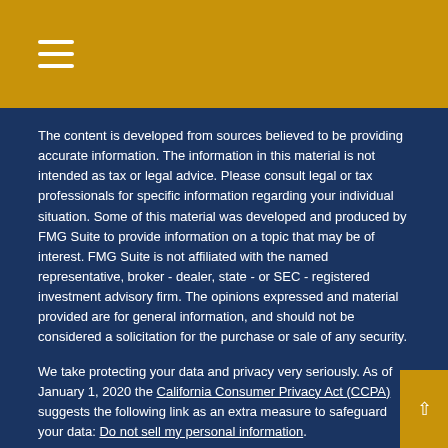Navigation menu (hamburger icon)
The content is developed from sources believed to be providing accurate information. The information in this material is not intended as tax or legal advice. Please consult legal or tax professionals for specific information regarding your individual situation. Some of this material was developed and produced by FMG Suite to provide information on a topic that may be of interest. FMG Suite is not affiliated with the named representative, broker - dealer, state - or SEC - registered investment advisory firm. The opinions expressed and material provided are for general information, and should not be considered a solicitation for the purchase or sale of any security.
We take protecting your data and privacy very seriously. As of January 1, 2020 the California Consumer Privacy Act (CCPA) suggests the following link as an extra measure to safeguard your data: Do not sell my personal information.
Copyright 2022 FMG Suite.
Securities and advisory services offered through Woodbury Financial Services, Inc., member FINRA/SIPC. Insurance offered through Derse Morgen which is not affiliated with Woodbury Financial Services, Inc.This communication is strictly intended for individuals residing in the states of AZ, CA, CT, CO, FL, GA, HI, ID, IL, MD, MI, MN, NC, NJ, NY, OH, PA, SC, TX, VA, WA, WV. No offers may be made or accepted from any resident outside the specific state referenced.